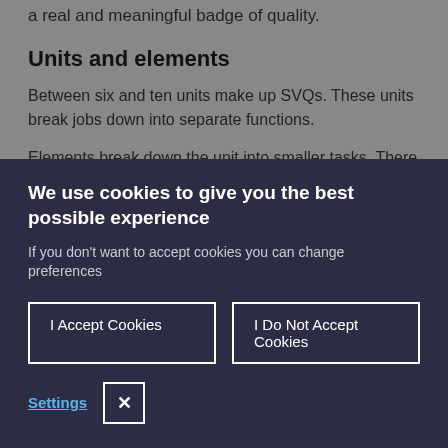a real and meaningful badge of quality.
Units and elements
Between six and ten units make up SVQs. These units break jobs down into separate functions.
Elements break down the unit into smaller tasks. There might up to five of them in a unit. Every element has evidence requirements. By gathering this evidence
We use cookies to give you the best possible experience
If you don't want to accept cookies you can change preferences
I Accept Cookies
I Do Not Accept Cookies
Settings